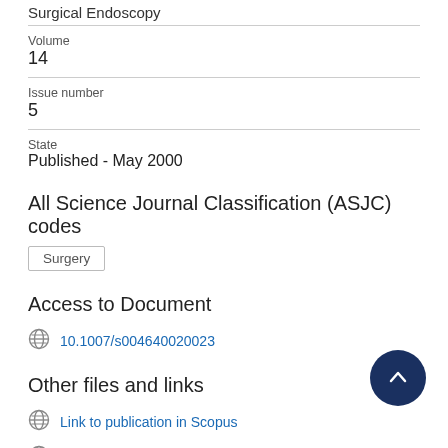Surgical Endoscopy
Volume
14
Issue number
5
State
Published - May 2000
All Science Journal Classification (ASJC) codes
Surgery
Access to Document
10.1007/s004640020023
Other files and links
Link to publication in Scopus
Link to citation list in Scopus